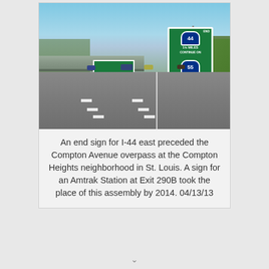[Figure (photo): Highway photo showing I-44 eastbound approaching the Compton Avenue overpass at Compton Heights neighborhood in St. Louis. A large green highway sign on the right side reads END I-44, 1¾ MILES CONTINUE ON, with an I-55 shield below. Overhead green signs are visible in the distance. Road has multiple lanes with vehicles. Trees and grass visible on right embankment.]
An end sign for I-44 east preceded the Compton Avenue overpass at the Compton Heights neighborhood in St. Louis. A sign for an Amtrak Station at Exit 290B took the place of this assembly by 2014. 04/13/13